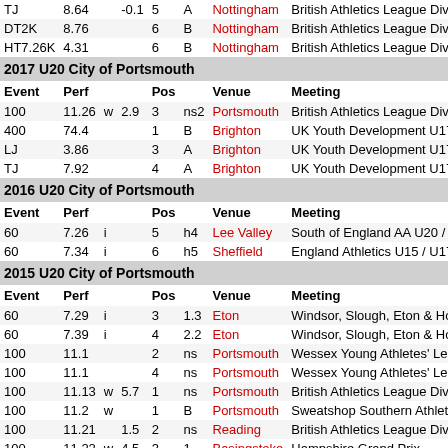| Event | Perf |  |  | Pos |  | Venue | Meeting |
| --- | --- | --- | --- | --- | --- | --- | --- |
| TJ | 8.64 | -0.1 |  | 5 | A | Nottingham | British Athletics League Divis |
| DT2K | 8.76 |  |  | 6 | B | Nottingham | British Athletics League Divis |
| HT7.26K | 4.31 |  |  | 6 | B | Nottingham | British Athletics League Divis |
2017 U20 City of Portsmouth
| Event | Perf |  |  | Pos |  | Venue | Meeting |
| --- | --- | --- | --- | --- | --- | --- | --- |
| 100 | 11.26 | w | 2.9 | 3 | ns2 | Portsmouth | British Athletics League Divis |
| 400 | 74.4 |  |  | 1 | B | Brighton | UK Youth Development U17/ |
| LJ | 3.86 |  |  | 3 | A | Brighton | UK Youth Development U17/ |
| TJ | 7.92 |  |  | 4 | A | Brighton | UK Youth Development U17/ |
2016 U20 City of Portsmouth
| Event | Perf |  |  | Pos |  | Venue | Meeting |
| --- | --- | --- | --- | --- | --- | --- | --- |
| 60 | 7.26 | i |  | 5 | h4 | Lee Valley | South of England AA U20 / S |
| 60 | 7.34 | i |  | 6 | h5 | Sheffield | England Athletics U15 / U17 / |
2015 U20 City of Portsmouth
| Event | Perf |  |  | Pos |  | Venue | Meeting |
| --- | --- | --- | --- | --- | --- | --- | --- |
| 60 | 7.29 | i |  | 3 | 1.3 | Eton | Windsor, Slough, Eton & Hou |
| 60 | 7.39 | i |  | 4 | 2.2 | Eton | Windsor, Slough, Eton & Hou |
| 100 | 11.1 |  |  | 2 | ns | Portsmouth | Wessex Young Athletes' Leag |
| 100 | 11.1 |  |  | 4 | ns | Portsmouth | Wessex Young Athletes' Leag |
| 100 | 11.13 | w | 5.7 | 1 | ns | Portsmouth | British Athletics League Divis |
| 100 | 11.2 | w |  | 1 | B | Portsmouth | Sweatshop Southern Athletics |
| 100 | 11.21 |  | 1.5 | 2 | ns | Reading | British Athletics League Divis |
| 100 | 11.22 | w | 4.5 | 3 | 1 | Basingstoke | Hampshire Grand Prix |
| 100 | 11.24 |  | 1.4 | 4 |  | Portsmouth | Hampshire County Champion |
| 100 | 11.27 | w | 2.3 | 2 | h2 | Portsmouth | Hampshire County Champio |